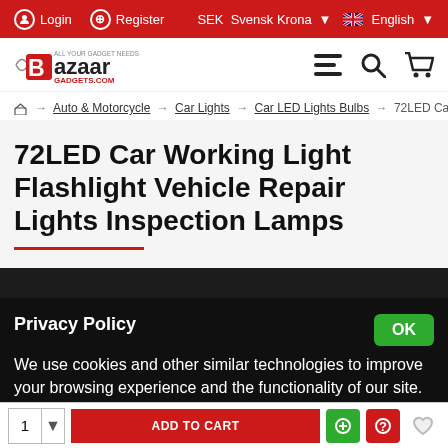Login  Register  SEK  Svensk Krona  English
[Figure (logo): Bazaar Gadgets logo with stylized B and text, plus hamburger menu, search and cart icons]
Home → Auto & Motorcycle → Car Lights → Car LED Lights Bulbs → 72LED Ca
72LED Car Working Light Flashlight Vehicle Repair Lights Inspection Lamps
Privacy Policy
We use cookies and other similar technologies to improve your browsing experience and the functionality of our site. Privacy Policy.
1  ADD TO CART